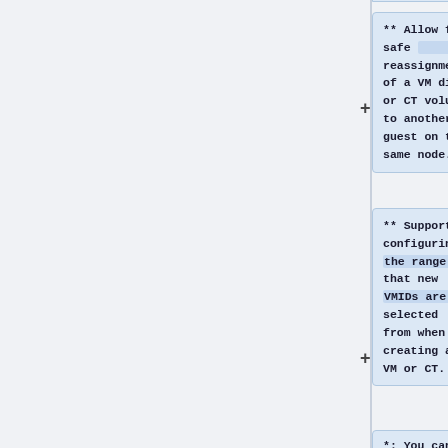** Allow for safe reassignment of a VM disk or CT volume to another guest on the same node.
** Support configuring the range that new VMIDs are selected from when creating a VM or CT.
*: You can set the upper and